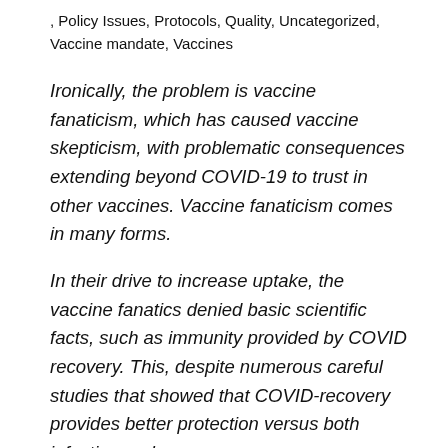, Policy Issues, Protocols, Quality, Uncategorized, Vaccine mandate, Vaccines
Ironically, the problem is vaccine fanaticism, which has caused vaccine skepticism, with problematic consequences extending beyond COVID-19 to trust in other vaccines. Vaccine fanaticism comes in many forms.
In their drive to increase uptake, the vaccine fanatics denied basic scientific facts, such as immunity provided by COVID recovery. This, despite numerous careful studies that showed that COVID-recovery provides better protection versus both infection and severe